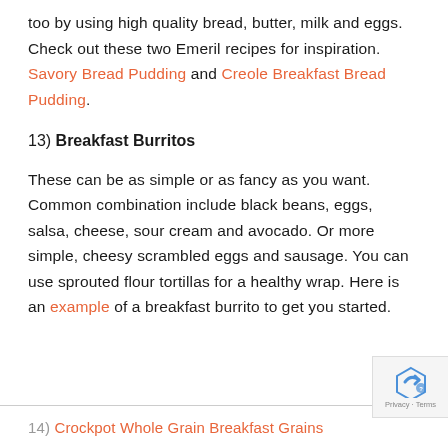too by using high quality bread, butter, milk and eggs. Check out these two Emeril recipes for inspiration. Savory Bread Pudding and Creole Breakfast Bread Pudding.
13) Breakfast Burritos
These can be as simple or as fancy as you want. Common combination include black beans, eggs, salsa, cheese, sour cream and avocado. Or more simple, cheesy scrambled eggs and sausage. You can use sprouted flour tortillas for a healthy wrap. Here is an example of a breakfast burrito to get you started.
14) Crockpot Whole Grain Breakfast Grains